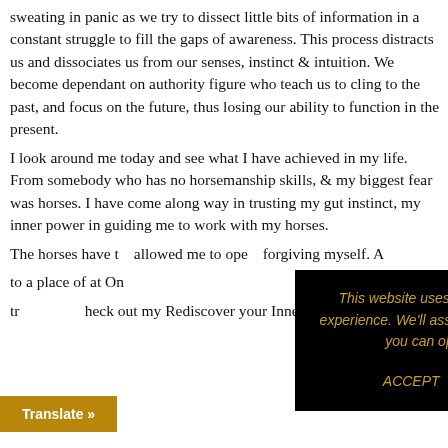sweating in panic as we try to dissect little bits of information in a constant struggle to fill the gaps of awareness. This process distracts us and dissociates us from our senses, instinct & intuition. We become dependant on authority figure who teach us to cling to the past, and focus on the future, thus losing our ability to function in the present.
I look around me today and see what I have achieved in my life. From somebody who has no horsemanship skills, & my biggest fear was horses. I have come along way in trusting my gut instinct, my inner power in guiding me to work with my horses.
The horses have [text partially obscured] allowed me to ope[n] forgiving myself. A[nd bring me] to a place of at On[eness] tr[ust...] heck out my Rediscover your Inner Child
[Figure (screenshot): Cookie consent banner overlay: black background with gold/amber italic text reading 'This website uses cookies to improve your experience. We'll assume you're ok with this, but you can opt-out if you wish.' with ACCEPT text link and a grey 'Read More' button.]
Translate »